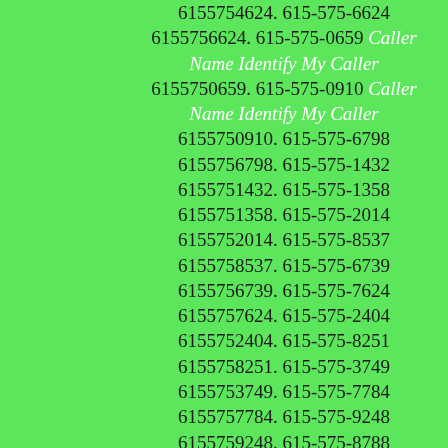6155754624. 615-575-6624 6155756624. 615-575-0659 Caller Name Identify My Caller 6155750659. 615-575-0910 Caller Name Identify My Caller 6155750910. 615-575-6798 6155756798. 615-575-1432 6155751432. 615-575-1358 6155751358. 615-575-2014 6155752014. 615-575-8537 6155758537. 615-575-6739 6155756739. 615-575-7624 6155757624. 615-575-2404 6155752404. 615-575-8251 6155758251. 615-575-3749 6155753749. 615-575-7784 6155757784. 615-575-9248 6155759248. 615-575-8788 6155758788. 615-575-1302 6155751302. 615-575-7969 6155757969. 615-575-8359 6155758359. 615-575-0326 Caller Name Identify My Caller 6155750326. 615-575-5933 6155755933. 615-575-5430 6155755430. 615-575-2551 6155752551. 615-575-9018